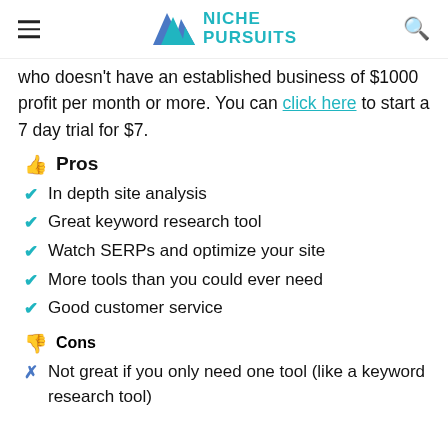Niche Pursuits
who doesn't have an established business of $1000 profit per month or more. You can click here to start a 7 day trial for $7.
👍 Pros
✓ In depth site analysis
✓ Great keyword research tool
✓ Watch SERPs and optimize your site
✓ More tools than you could ever need
✓ Good customer service
👎 Cons
✗ Not great if you only need one tool (like a keyword research tool)